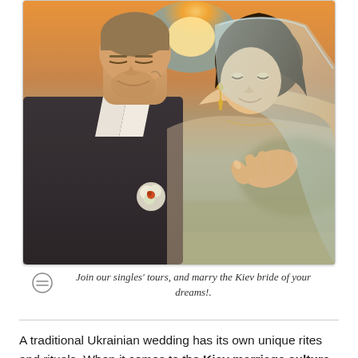[Figure (photo): A bride and groom facing each other closely, forehead to forehead, smiling. The groom wears a dark suit with a white shirt; the bride wears a white dress with a veil and earrings. Warm golden sunset light in the background with a blurred outdoor setting.]
Join our singles' tours, and marry the Kiev bride of your dreams!.
A traditional Ukrainian wedding has its own unique rites and rituals. When it comes to the Kiev marriage culture, a ceremony is usually performed in church. It is then followed by several folk performances that are symbolic by nature. Usually, a Ukrainian wedding involves the entire village, along with the bride and groom's family and